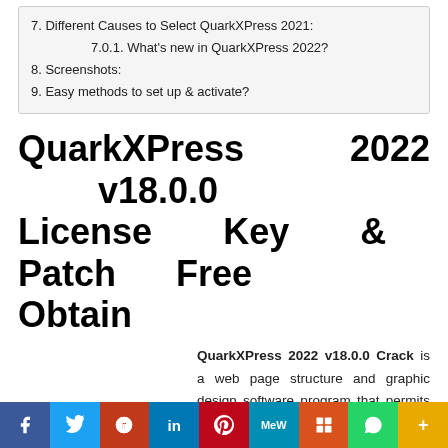7. Different Causes to Select QuarkXPress 2021:
7.0.1. What's new in QuarkXPress 2022?
8. Screenshots:
9. Easy methods to set up & activate?
QuarkXPress 2022 v18.0.0 License Key & Patch Free Obtain
QuarkXPress 2022 v18.0.0 Crack is a web page structure and graphic design software program that permits anybody to create and publish wealthy
[Figure (other): Social media share buttons bar: Facebook, Twitter, Reddit, LinkedIn, Pinterest, MeWe, Mix, WhatsApp, More]